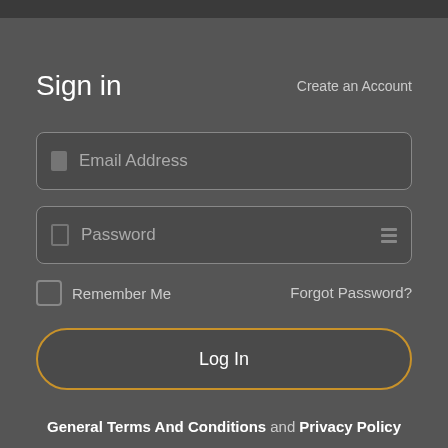Sign in
Create an Account
Email Address
Password
Remember Me
Forgot Password?
Log In
General Terms And Conditions and Privacy Policy